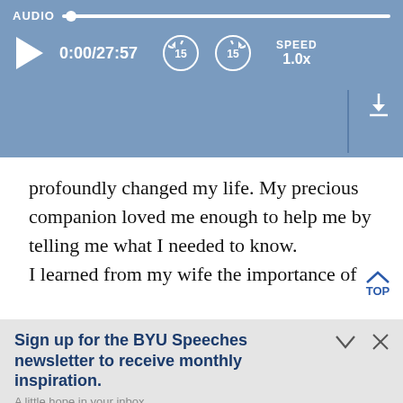[Figure (screenshot): Audio player UI with blue background. Shows AUDIO label with progress bar, play button, time 0:00/27:57, rewind 15s, forward 15s, SPEED 1.0x, and download arrow.]
profoundly changed my life. My precious companion loved me enough to help me by telling me what I needed to know.

I learned from my wife the importance of
Sign up for the BYU Speeches newsletter to receive monthly inspiration.
A little hope in your inbox.
Enter your email
SUBSCRIBE